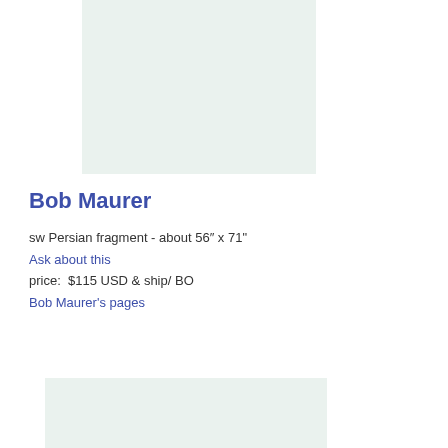[Figure (photo): A light mint/green colored rectangular image placeholder representing a rug or textile fragment]
Bob Maurer
sw Persian fragment - about 56" x 71"
Ask about this
price:  $115 USD & ship/ BO
Bob Maurer's pages
[Figure (photo): A light mint/green colored rectangular image placeholder at the bottom of the page]